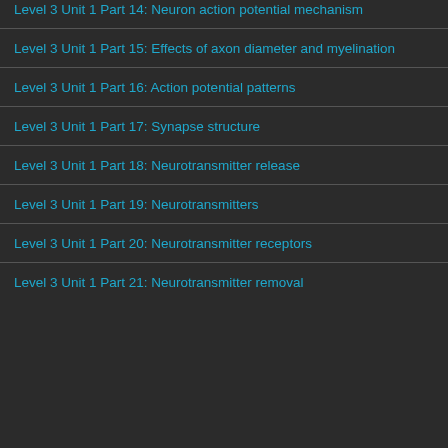Level 3 Unit 1 Part 14: Neuron action potential mechanism
Level 3 Unit 1 Part 15: Effects of axon diameter and myelination
Level 3 Unit 1 Part 16: Action potential patterns
Level 3 Unit 1 Part 17: Synapse structure
Level 3 Unit 1 Part 18: Neurotransmitter release
Level 3 Unit 1 Part 19: Neurotransmitters
Level 3 Unit 1 Part 20: Neurotransmitter receptors
Level 3 Unit 1 Part 21: Neurotransmitter removal